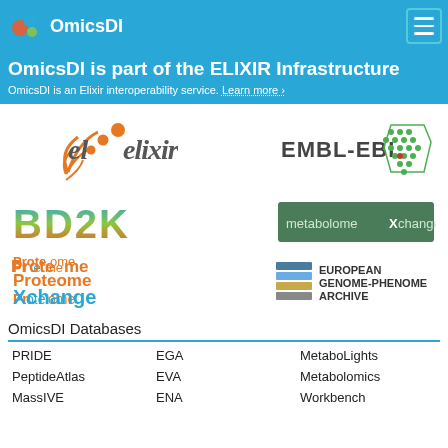OmicsDI
OmicsDI is part of the ELIXIR Infrastructure
OmicsDI is an Elixir interoperability service. Learn more ›
[Figure (logo): ELIXIR logo with orange DNA helix and dots]
[Figure (logo): EMBL-EBI logo with green hexagonal dot pattern]
[Figure (logo): BD2K logo with colorful text]
[Figure (logo): metabolomeXchange logo in green rectangle]
[Figure (logo): ProteomeXchange logo in blue and orange]
[Figure (logo): European Genome-Phenome Archive logo]
OmicsDI Databases
| PRIDE | EGA | MetaboLights |
| PeptideAtlas | EVA | Metabolomics |
| MassIVE | ENA | Workbench |